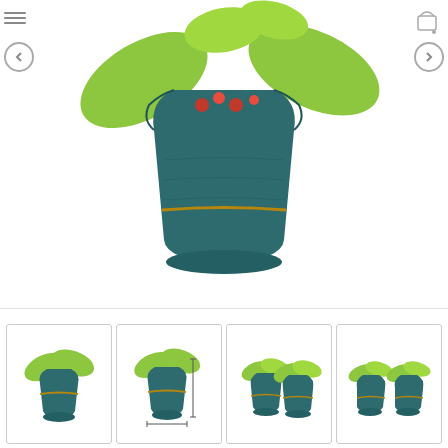[Figure (photo): Main product photo of a potted plant with large bright green leaves wrapped in dark teal/blue paper tied with twine, showing red berries inside. Displayed with navigation arrows and menu icon on left, cart icon on top right.]
[Figure (photo): Thumbnail 1: Single potted plant with green leaves in dark teal pot.]
[Figure (photo): Thumbnail 2: Single potted plant with dimension measurement arrows shown.]
[Figure (photo): Thumbnail 3: Two potted plants side by side in dark teal pots.]
[Figure (photo): Thumbnail 4: Two or three potted plants side by side in dark teal pots.]